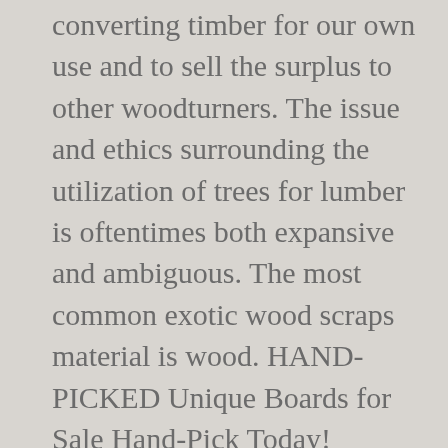converting timber for our own use and to sell the surplus to other woodturners. The issue and ethics surrounding the utilization of trees for lumber is oftentimes both expansive and ambiguous. The most common exotic wood scraps material is wood. HAND-PICKED Unique Boards for Sale Hand-Pick Today! Welcome to Exotic Hardwoods UK Ltd, specialists in the import and export of exotic hardwoods from all over the World. We use cookies and similar tools to enhance your shopping experience, to provide our services, understand how customers use our services so we can make improvements, and display ads. Exotic Lumber For All Your Woodworking Needs. Pen blanks are not labeled by species